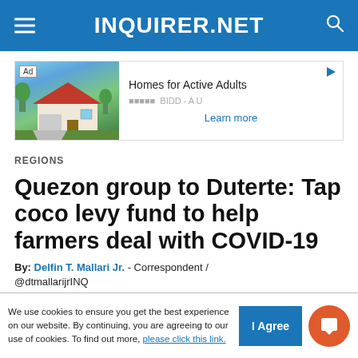INQUIRER.NET
[Figure (screenshot): Advertisement banner for Homes for Active Adults showing a house image on the left, with text 'Homes for Active Adults', 'BIDD - A U', and a 'Learn more' link. Ad label and play button icon visible.]
REGIONS
Quezon group to Duterte: Tap coco levy fund to help farmers deal with COVID-19
By: Delfin T. Mallari Jr. - Correspondent / @dtmallarijrINQ
We use cookies to ensure you get the best experience on our website. By continuing, you are agreeing to our use of cookies. To find out more, please click this link.